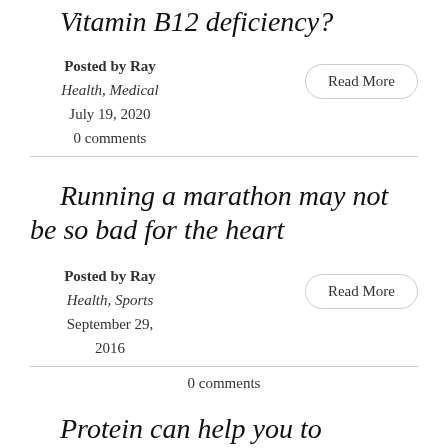Vitamin B12 deficiency?
Posted by Ray
Health, Medical
July 19, 2020
0 comments
Read More
Running a marathon may not be so bad for the heart
Posted by Ray
Health, Sports
September 29, 2016
0 comments
Read More
Protein can help you to